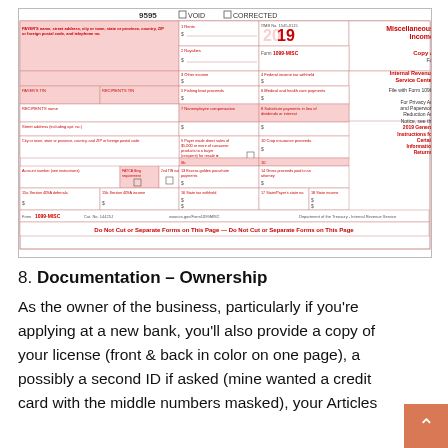[Figure (other): IRS Form 1099-MISC 2019 Copy A for Internal Revenue Service Center. Shows form number 9595, VOID and CORRECTED checkboxes, fields for payer info, recipient info, various income boxes including rents, royalties, other income, federal income tax withheld, fishing boat proceeds, medical payments, nonemployee compensation, substitute payments, direct sales, crop insurance proceeds, excess golden parachute payments, gross proceeds to attorney, Section 409A deferrals and income, state tax withheld, and state income. Red text reads 'Do Not Cut or Separate Forms on This Page'.]
8. Documentation – Ownership
As the owner of the business, particularly if you're applying at a new bank, you'll also provide a copy of your license (front & back in color on one page), a possibly a second ID if asked (mine wanted a credit card with the middle numbers masked), your Articles